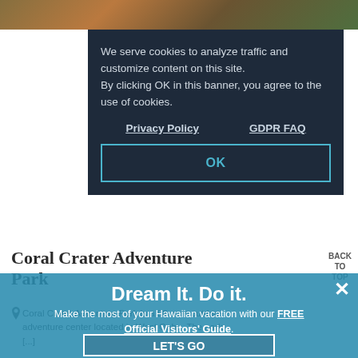[Figure (photo): Partial photo strip at top showing outdoor/nature scene with greenish-orange tones]
We serve cookies to analyze traffic and customize content on this site.
By clicking OK in this banner, you agree to the use of cookies.
Privacy Policy    GDPR FAQ
OK
Coral Crater Adventure Park
BACK TO TOP
Coral Crater Adventure Park is a 98-acre outdoor adventure center located in West Oahu. The park [...]
Dream It. Do it.
Make the most of your Hawaiian vacation with our FREE Official Visitors' Guide.
LET'S GO